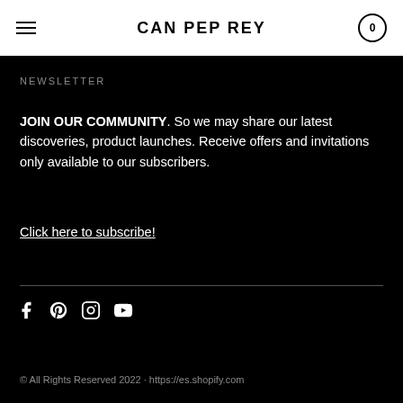CAN PEP REY
NEWSLETTER
JOIN OUR COMMUNITY. So we may share our latest discoveries, product launches. Receive offers and invitations only available to our subscribers.
Click here to subscribe!
[Figure (other): Social media icons: Facebook, Pinterest, Instagram, YouTube]
© All Rights Reserved 2022 · https://es.shopify.com